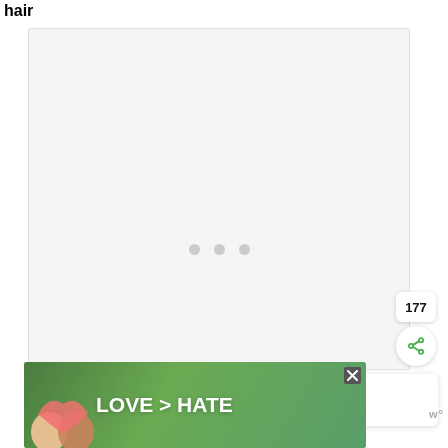hair
[Figure (photo): Large light gray placeholder image area with three gray dots in the center indicating loading state]
[Figure (infographic): Green circular like/heart button with count 177 and white share button below, social media action buttons]
[Figure (screenshot): What's Next panel showing a thumbnail of a woman and text 'Awesome Wash and G...']
[Figure (photo): Advertisement banner reading LOVE > HATE with hands forming heart shape on green background, with close button and logo]